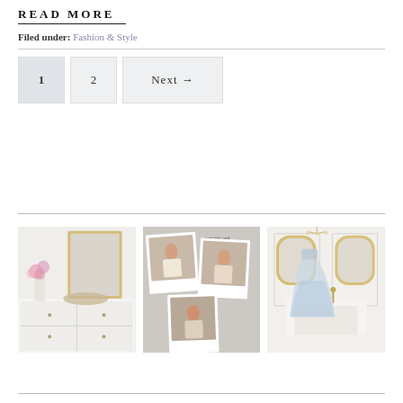READ MORE
Filed under: Fashion & Style
1  2  Next →
[Figure (photo): White dresser with pink roses in a vase and a tray, gold mirror in background, elegant interior]
[Figure (photo): Collage of polaroid-style photos of a woman in fashion outfits, text reads 'yesterday and today's looks']
[Figure (photo): Elegant room with white fireplace mantle, gold ornate mirror, blue tulle gown on a dress form]